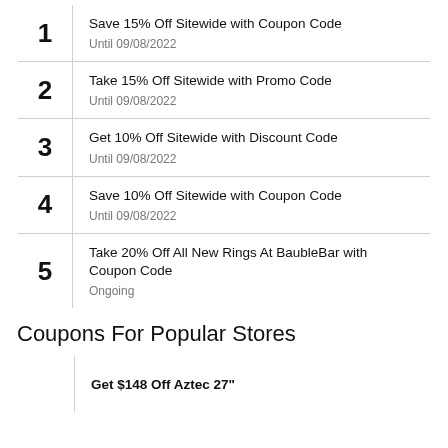1 Save 15% Off Sitewide with Coupon Code Until 09/08/2022
2 Take 15% Off Sitewide with Promo Code Until 09/08/2022
3 Get 10% Off Sitewide with Discount Code Until 09/08/2022
4 Save 10% Off Sitewide with Coupon Code Until 09/08/2022
5 Take 20% Off All New Rings At BaubleBar with Coupon Code Ongoing
Coupons For Popular Stores
Get $148 Off Aztec 27"